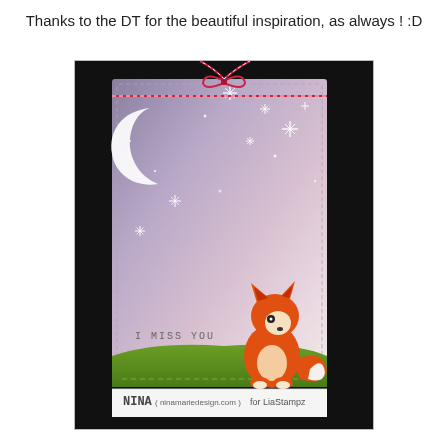Thanks to the DT for the beautiful inspiration, as always ! :D
[Figure (photo): A greeting card made with stamping. The card features a night sky background with purple/lavender gradient, a white crescent moon, white star stamps, a small orange fox sitting on green grass at the bottom, and the text 'I MISS YOU'. The card has a red and white twine bow at the top. The card is displayed against a black background. Attribution text at the bottom reads 'NINA (ninamariedesign.com) for LiaStampz'.]